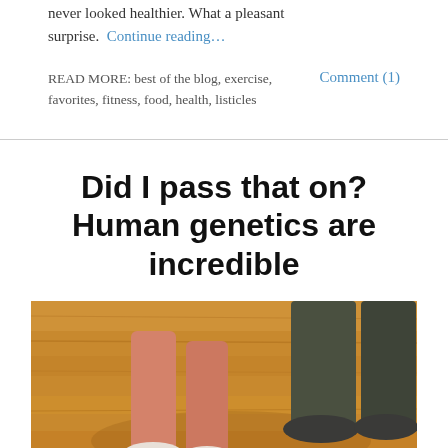never looked healthier. What a pleasant surprise. Continue reading…
READ MORE: best of the blog, exercise, favorites, fitness, food, health, listicles  Comment (1)
Did I pass that on? Human genetics are incredible
[Figure (photo): Photo of a child's feet in pink shoes and white socks on a wooden floor, with an adult's feet/legs in dark pants visible nearby]